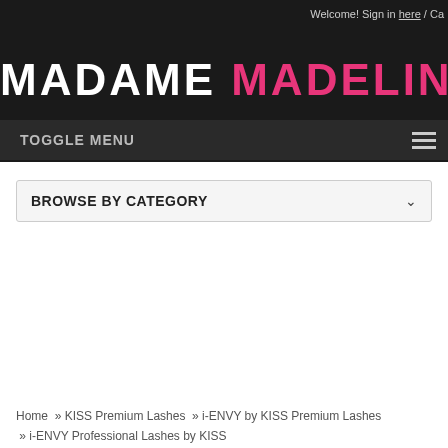Welcome! Sign in here / Ca...
[Figure (logo): Madame Madeline logo in white and pink text on black background]
TOGGLE MENU
BROWSE BY CATEGORY
Home » KISS Premium Lashes » i-ENVY by KISS Premium Lashes » i-ENVY Professional Lashes by KISS
KISS i-ENVY Pro Wispy Hybrid Extension 06
Brands: KISS
[Figure (photo): i-ENVY Professional Wispy Hybrid false lashes product box showing eyelashes close-up and labeled Wispy Hybrid 06]